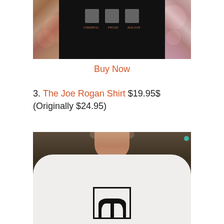[Figure (photo): Person wearing a black t-shirt with tattoo-covered arms visible on either side, with bokeh background lighting]
Buy Now
3. The Joe Rogan Shirt $19.95$ (Originally $24.95)
[Figure (photo): Man wearing a white t-shirt with a graphic logo, neck and lower head visible against dark background]